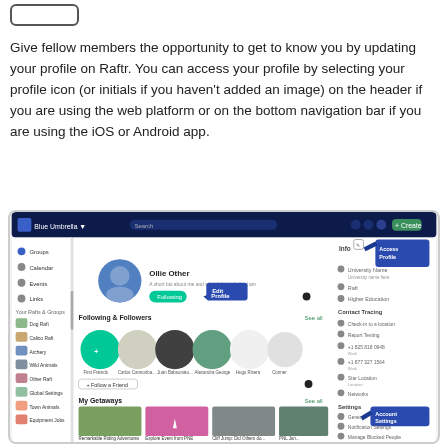[Figure (screenshot): A button element at the top of the page, shown as a rounded rectangle outline]
Give fellow members the opportunity to get to know you by updating your profile on Raftr. You can access your profile by selecting your profile icon (or initials if you haven't added an image) on the header if you are using the web platform or on the bottom navigation bar if you are using the iOS or Android app.
[Figure (screenshot): Screenshot of the Raftr web platform showing a user profile page with annotations pointing to 'Edit Profile' button and 'Account Settings' option in a dark navy navigation header. The profile shows following/followers section, My Getaways section, and My Rafts section.]